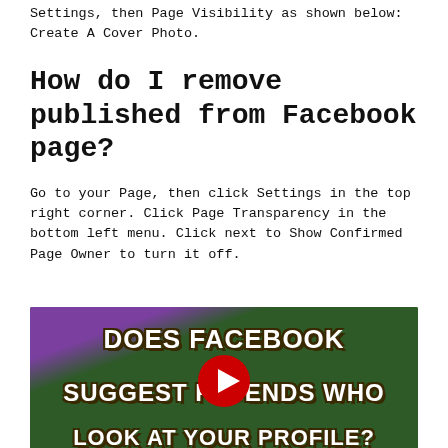Settings, then Page Visibility as shown below: Create A Cover Photo.
How do I remove published from Facebook page?
Go to your Page, then click Settings in the top right corner. Click Page Transparency in the bottom left menu. Click next to Show Confirmed Page Owner to turn it off.
[Figure (screenshot): YouTube video thumbnail showing text 'DOES FACEBOOK SUGGEST FRIENDS WHO LOOK AT YOUR PROFILE?' on a dark green background with a YouTube play button in the center]